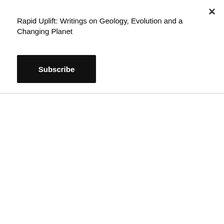Rapid Uplift: Writings on Geology, Evolution and a Changing Planet
Subscribe
[Figure (photo): Microscopic thin section image of sandstone showing complex cementation with minerals including dolomite, siderite, chalcedony under polarized light. Colors visible include teal/blue, black, yellow-green, and grey.]
The sandstone has a complex history of cementation. Pore spaces are filled with dolomite or siderite, chalcedony and calcite.
[Figure (photo): Microscopic thin section image of sandstone showing calcite cement and grain boundaries in brown and cream tones, with visible pore spaces and mineral contacts.]